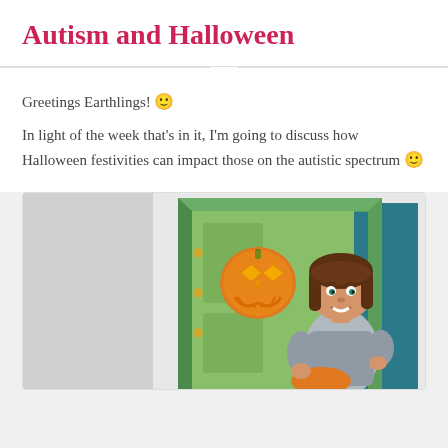Autism and Halloween
Greetings Earthlings! 🙂
In light of the week that's in it, I'm going to discuss how Halloween festivities can impact those on the autistic spectrum 🙂
[Figure (illustration): Cartoon bitmoji-style illustration of a woman with brown hair standing in an open green door, with a jack-o-lantern decoration on the door, holding orange fabric, set against a teal background.]